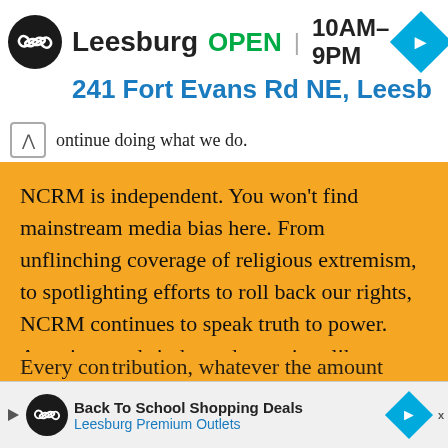[Figure (screenshot): Top advertisement banner showing Leesburg store: logo circle with infinity symbol, 'Leesburg OPEN 10AM-9PM' with navigation diamond icon, address '241 Fort Evans Rd NE, Leesb']
ontinue doing what we do.
NCRM is independent. You won't find mainstream media bias here. From unflinching coverage of religious extremism, to spotlighting efforts to roll back our rights, NCRM continues to speak truth to power. America needs independent voices like NCRM to be sure no one is forgotten.
[Figure (screenshot): Bottom advertisement banner: play icon, Leesburg Premium Outlets logo circle with infinity symbol, 'Back To School Shopping Deals' title, 'Leesburg Premium Outlets' subtitle in blue, navigation diamond icon, close X]